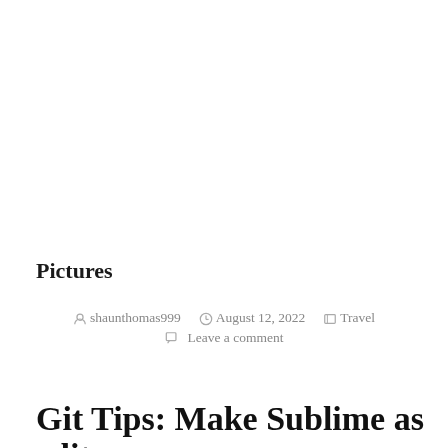Pictures
by shaunthomas999  August 12, 2022  Travel  Leave a comment
Git Tips: Make Sublime as editor